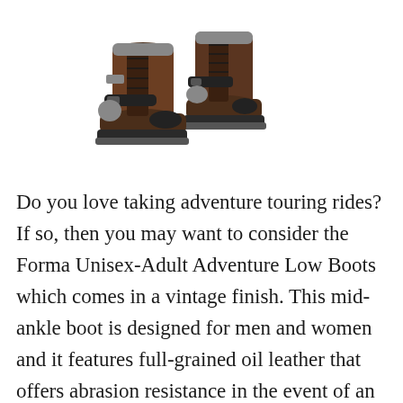[Figure (photo): A pair of brown Forma Unisex-Adult Adventure Low motorcycle boots with black buckles and grey accents, shown on a white background.]
Do you love taking adventure touring rides? If so, then you may want to consider the Forma Unisex-Adult Adventure Low Boots which comes in a vintage finish. This mid-ankle boot is designed for men and women and it features full-grained oil leather that offers abrasion resistance in the event of an accident or fall. Better yet, there are TPU and reinforcements inserted in the ankle area to offer impact protection to the rider in case of a crash